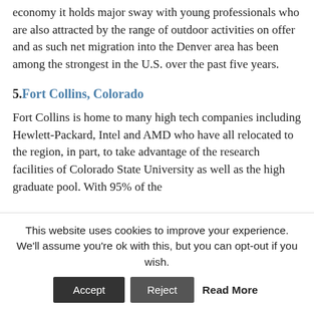economy it holds major sway with young professionals who are also attracted by the range of outdoor activities on offer and as such net migration into the Denver area has been among the strongest in the U.S. over the past five years.
5. Fort Collins, Colorado
Fort Collins is home to many high tech companies including Hewlett-Packard, Intel and AMD who have all relocated to the region, in part, to take advantage of the research facilities of Colorado State University as well as the high graduate pool. With 95% of the
This website uses cookies to improve your experience. We'll assume you're ok with this, but you can opt-out if you wish. Accept Reject Read More